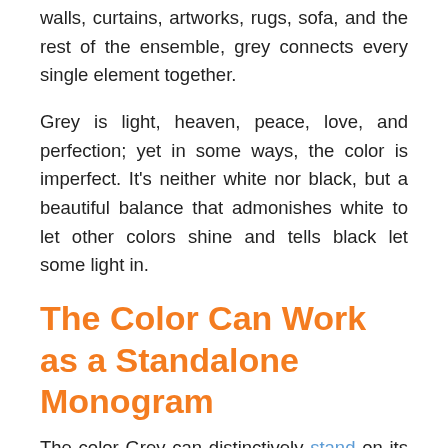walls, curtains, artworks, rugs, sofa, and the rest of the ensemble, grey connects every single element together.
Grey is light, heaven, peace, love, and perfection; yet in some ways, the color is imperfect. It's neither white nor black, but a beautiful balance that admonishes white to let other colors shine and tells black let some light in.
The Color Can Work as a Standalone Monogram
The color Grey can distinctively stand on its own even when a monogram of it is used in decorating the entire living room. With other colors, you may end up with an abnormally bright or a poorly illuminated scene.  But grey is a standalone. It works well with other colors but can still fit the perfect home décor when used as both the primary and